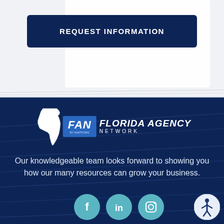REQUEST INFORMATION
[Figure (logo): Florida Agency Network (FAN) logo with white Florida state outline, blue FAN badge, and FLORIDA AGENCY NETWORK text]
Our knowledgeable team looks forward to showing you how our many resources can grow your business.
[Figure (illustration): Social media icons: Facebook, LinkedIn, Instagram in teal circles, plus accessibility icon button]